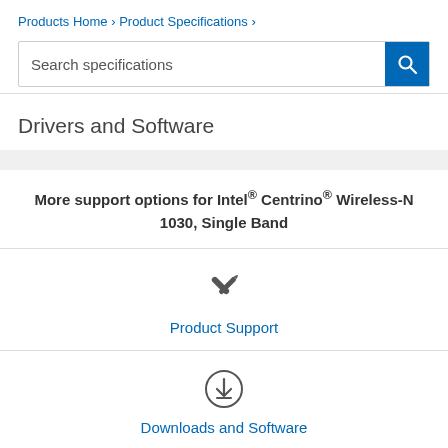Products Home › Product Specifications ›
Search specifications
Drivers and Software
More support options for Intel® Centrino® Wireless-N 1030, Single Band
[Figure (illustration): Crossed screwdriver and wrench tools icon]
Product Support
[Figure (illustration): Download arrow inside circle icon]
Downloads and Software
[Figure (illustration): Speech bubbles with question mark icon]